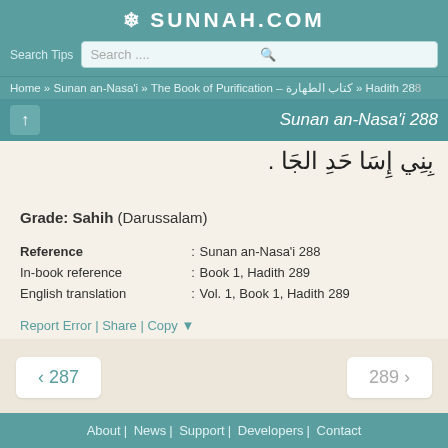SUNNAH.COM
Search Tips  Search ...
Home » Sunan an-Nasa'i » The Book of Purification – كتاب الطهارة » Hadith 288
Sunan an-Nasa'i 288
[Figure (other): Arabic text of Hadith]
Grade: Sahih (Darussalam)
| Reference | : Sunan an-Nasa'i 288 |
| In-book reference | : Book 1, Hadith 289 |
| English translation | : Vol. 1, Book 1, Hadith 289 |
Report Error | Share | Copy ▼
❮ 287    289 ❯
About | News | Support | Developers | Contact